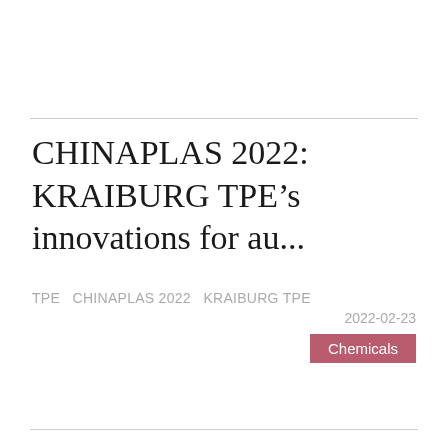CHINAPLAS 2022: KRAIBURG TPE's innovations for au...
TPE  CHINAPLAS 2022  KRAIBURG TPE  2022-02-23  Chemicals